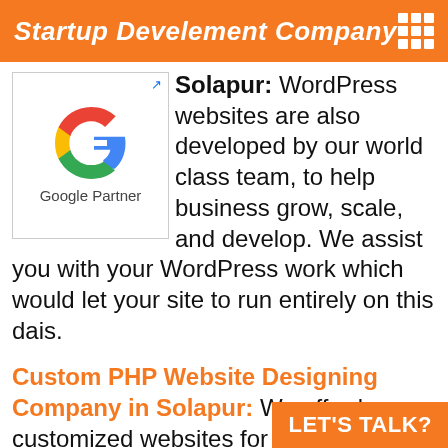Startup Develement Company
Solapur: WordPress websites are also developed by our world class team, to help business grow, scale, and develop. We assist you with your WordPress work which would let your site to run entirely on this dais.
[Figure (logo): Google Partner logo with colorful G icon and 'Google Partner' text below]
Custom PHP Website Designing Company in Solapur: We afford customized websites for our valued clients. We use the PHP Web Development process to meet all your desires. We provide endwise Custom PHP web app development by means of your necessity within fixed timelines. If you need to find us in your area just search “website design company near me” on s
LET'S TALK?